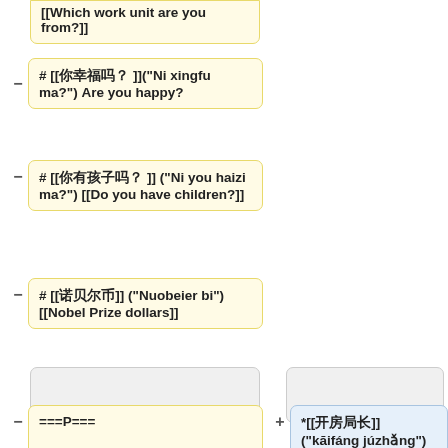[[Which work unit are you from?]]
# [[你幸福吗？ ]]("Ni xingfu ma?") Are you happy?
# [[你有孩子吗？ ]] ("Ni you haizi ma?") [[Do you have children?]]
# [[诺贝尔币]] ("Nuobeier bi") [[Nobel Prize dollars]]
===P===
*[[开房局长]] ("kāifáng júzhǎng") [[room-opening bureau chief]]
*[[开胸验肺]] ("kāixiōng yànfèi") [[thoracotomy]]
*[[康师傅]] ("Kāng Shīfù")